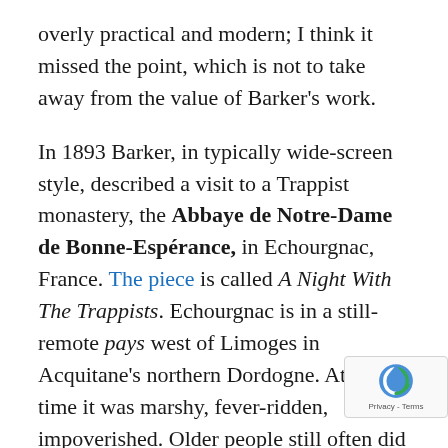overly practical and modern; I think it missed the point, which is not to take away from the value of Barker's work.
In 1893 Barker, in typically wide-screen style, described a visit to a Trappist monastery, the Abbaye de Notre-Dame de Bonne-Espérance, in Echourgnac, France. The piece is called A Night With The Trappists. Echourgnac is in a still-remote pays west of Limoges in Acquitane's northern Dordogne. At the time it was marshy, fever-ridden, impoverished. Older people still often did not know French, as against the patois they grew up with.
Barker specialized in introducing such regions to a public more familiar with France as a destination for gentlemen to finish their education, or for